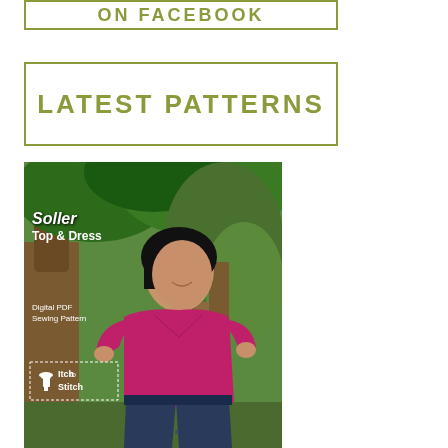[Figure (illustration): Button/banner with text 'ON FACEBOOK' in olive/khaki colored bold uppercase letters with matching border, on white background]
[Figure (illustration): Button/banner with text 'LATEST PATTERNS' in olive/khaki colored bold uppercase letters with matching border, on white background]
[Figure (photo): Photo of an Asian woman wearing a magenta/pink V-neck top and dark pants, standing outdoors near a large tree. Overlaid text reads 'Soller Top & Dress', 'Digital PDF Sewing Pattern', and 'Itch to Stitch' logo with a dressform icon.]